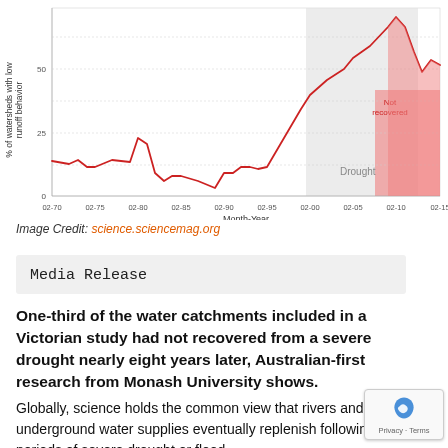[Figure (line-chart): % of watersheds with low runoff behavior vs Month-Year]
Image Credit: science.sciencemag.org
Media Release
One-third of the water catchments included in a Victorian study had not recovered from a severe drought nearly eight years later, Australian-first research from Monash University shows.
Globally, science holds the common view that rivers and underground water supplies eventually replenish following periods of severe drought or flood.